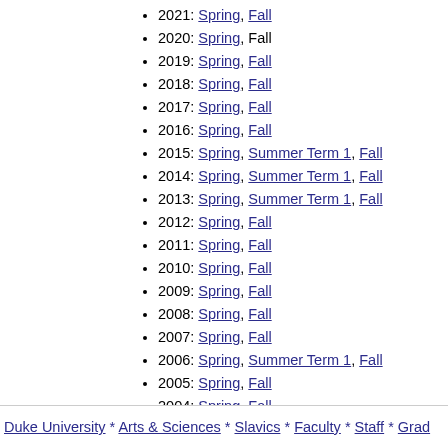2021: Spring, Fall
2020: Spring, Fall
2019: Spring, Fall
2018: Spring, Fall
2017: Spring, Fall
2016: Spring, Fall
2015: Spring, Summer Term 1, Fall
2014: Spring, Summer Term 1, Fall
2013: Spring, Summer Term 1, Fall
2012: Spring, Fall
2011: Spring, Fall
2010: Spring, Fall
2009: Spring, Fall
2008: Spring, Fall
2007: Spring, Fall
2006: Spring, Summer Term 1, Fall
2005: Spring, Fall
2004: Spring, Fall
2003: Spring, Fall
2002: Spring, Fall
2001: Spring, Fall
2000: Fall
Duke University * Arts & Sciences * Slavics * Faculty * Staff * Grad